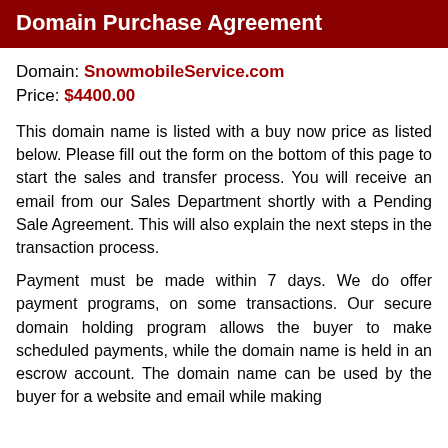Domain Purchase Agreement
Domain: SnowmobileService.com
Price: $4400.00
This domain name is listed with a buy now price as listed below. Please fill out the form on the bottom of this page to start the sales and transfer process. You will receive an email from our Sales Department shortly with a Pending Sale Agreement. This will also explain the next steps in the transaction process.
Payment must be made within 7 days. We do offer payment programs, on some transactions. Our secure domain holding program allows the buyer to make scheduled payments, while the domain name is held in an escrow account. The domain name can be used by the buyer for a website and email while making